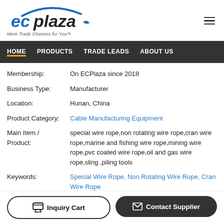[Figure (logo): ECPlaza logo with blue arc and tagline 'More Trade Chances for You']
HOME  PRODUCTS  TRADE LEADS  ABOUT US
| Field | Value |
| --- | --- |
| Membership: | On ECPlaza since 2018 |
| Business Type: | Manufacturer |
| Location: | Hunan, China |
| Product Category: | Cable Manufacturing Equipment |
| Main Item / Product: | special wire rope,non rotating wire rope,cran wire rope,marine and fishing wire rope,mining wire rope,pvc coated wire rope,oil and gas wire rope,sling ,piling tools |
| Keywords: | Special Wire Rope, Non Rotating Wire Rope, Cran Wire Rope |
| Main Target Region: | World Wide |
| Safety / Quality Approvals: | ISO09001,API-9A,SGS |
| Representative / | Ocean Xiao |
Inquiry Cart  Contact Supplier